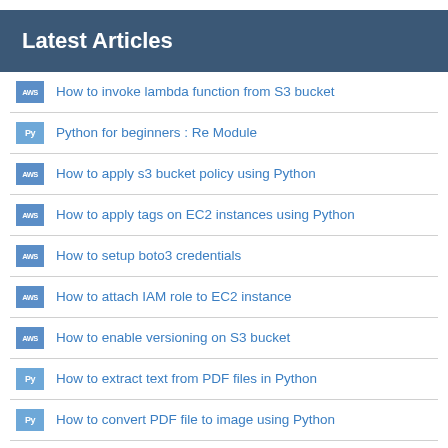Latest Articles
How to invoke lambda function from S3 bucket
Python for beginners : Re Module
How to apply s3 bucket policy using Python
How to apply tags on EC2 instances using Python
How to setup boto3 credentials
How to attach IAM role to EC2 instance
How to enable versioning on S3 bucket
How to extract text from PDF files in Python
How to convert PDF file to image using Python